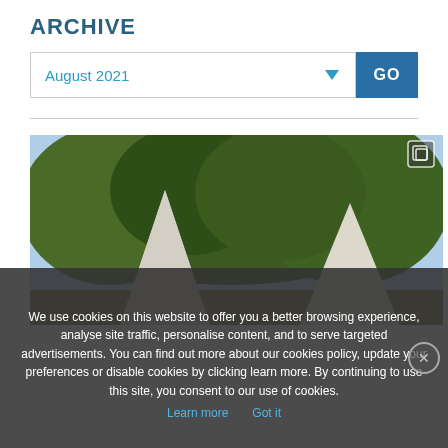ARCHIVE
August 2021
[Figure (photo): Outdoor scene with two white peaked tents surrounded by green trees under a partly cloudy blue sky]
We use cookies on this website to offer you a better browsing experience, analyse site traffic, personalise content, and to serve targeted advertisements. You can find out more about our cookies policy, update your preferences or disable cookies by clicking learn more. By continuing to use this site, you consent to our use of cookies. Learn more  Got it